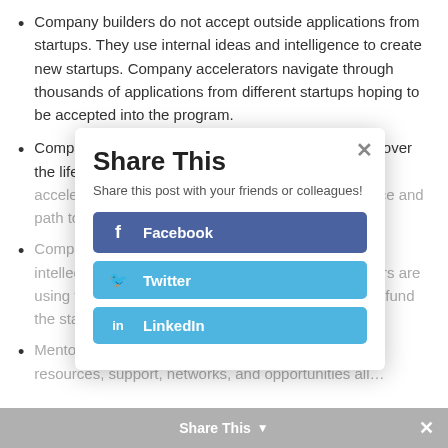Company builders do not accept outside applications from startups. They use internal ideas and intelligence to create new startups. Company accelerators navigate through thousands of applications from different startups hoping to be accepted into the program.
Company builders are focused on prolonged growth over the lifetime of the venture. Conversely, company accelerators aim to accelerate the learning experience and path to profits as quickly as possible.
Company builders use only internal monetary and intellectual resources. Whereas company accelerators are using financial investments from outside investors to fund the startups and the mentoring programs they run.
Mentors under a company builder have access to resources, support, networks, and opportunities all...
[Figure (screenshot): Share This modal overlay with title 'Share This', subtitle 'Share this post with your friends or colleagues!', and three social share buttons: Facebook (dark blue), Twitter (light blue), LinkedIn (light blue). A close X button is in the top right of the modal.]
Share This ∨  ✕